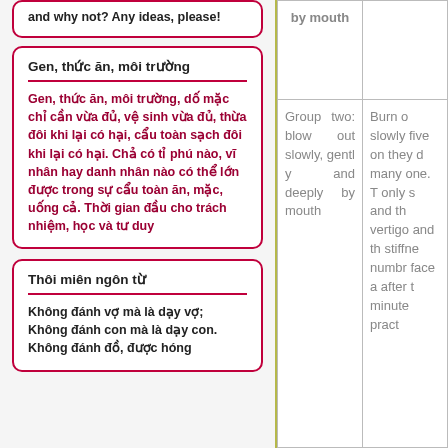and why not? Any ideas, please!
Gen, thức ăn, môi trường
Gen, thức ān, môi trường, dố mặc chỉ cần vừa đủ, vệ sinh vừa đủ, thừa đôi khi lại có hại, cẩu toàn sạch đôi khi lại có hại. Chả có tỉ phú nào, vĩ nhân hay danh nhân nào có thể lớn được trong sự cẩu toàn ān, mặc, uống cả. Thời gian đầu cho trách nhiệm, học và tư duy
Thôi miên ngôn từ
Không đánh vợ mà là dạy vợ;
Không đánh con mà là dạy con.
Không đánh đồ, được hóng
| by mouth |  |
| --- | --- |
| Group two: blow out slowly, gently and deeply by mouth | Burn o slowly five or they d many one. T only s and th vertigo and th stiffne numbr face a after t minute pract |